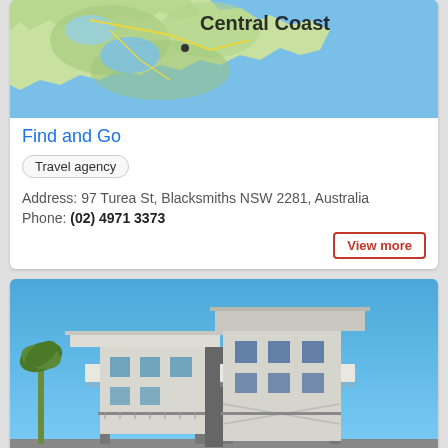[Figure (map): Map showing Central Coast area of NSW, Australia with green land areas and blue water/ocean]
Find and Go
Travel agency
Address: 97 Turea St, Blacksmiths NSW 2281, Australia
Phone: (02) 4971 3373
View more
[Figure (photo): Photo of a modern white multi-story building with cantilevered sections against a clear blue sky, with a palm tree visible on the left]